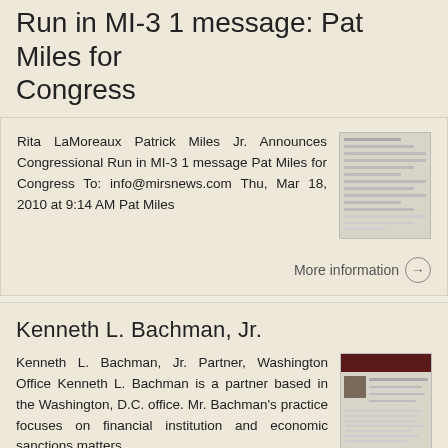Run in MI-3 1 message: Pat Miles for Congress
Rita LaMoreaux Patrick Miles Jr. Announces Congressional Run in MI-3 1 message Pat Miles for Congress To: info@mirsnews.com Thu, Mar 18, 2010 at 9:14 AM Pat Miles
More information →
Kenneth L. Bachman, Jr.
Kenneth L. Bachman, Jr. Partner, Washington Office Kenneth L. Bachman is a partner based in the Washington, D.C. office. Mr. Bachman's practice focuses on financial institution and economic sanctions matters,
More information →
THE CENTER FOR WOMEN S ENTREPRENEURIAL LEADERSHIP AT